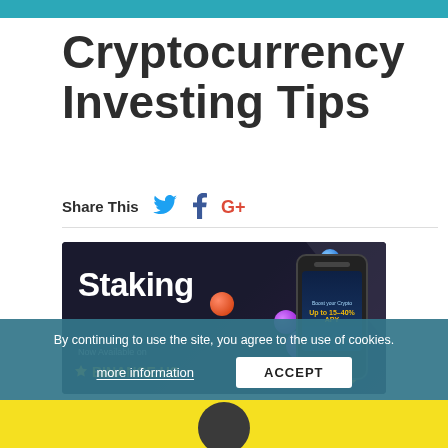Cryptocurrency Investing Tips
Share This
[Figure (illustration): Binance US Staking advertisement banner with colorful cryptocurrency coins and a smartphone showing staking interface. Text reads: Staking, Now Available on BINANCE US]
By continuing to use the site, you agree to the use of cookies.
more information    ACCEPT
[Figure (illustration): Yellow banner at bottom with partial view of a person's head (dark hair, rounded face)]